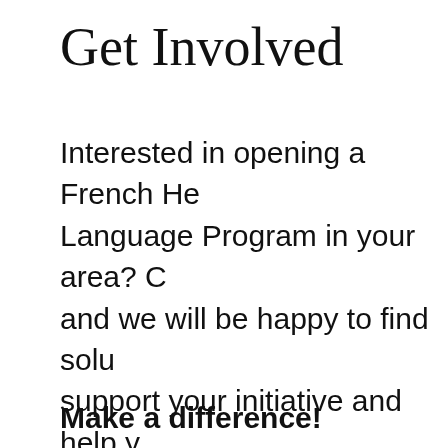Get Involved
Interested in opening a French Heritage Language Program in your area? Contact us and we will be happy to find solutions to support your initiative and help you network. Big things have small beginnings. We provide technical expertise in teaching and curriculum building and can help you develop new partnerships.
Make a difference!